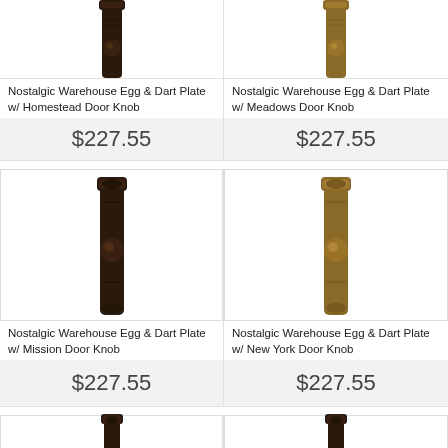[Figure (photo): Nostalgic Warehouse Egg & Dart Plate with Homestead Door Knob - dark bronze finish, top portion visible]
Nostalgic Warehouse Egg & Dart Plate w/ Homestead Door Knob
$227.55
[Figure (photo): Nostalgic Warehouse Egg & Dart Plate with Meadows Door Knob - antique brass finish, top portion visible]
Nostalgic Warehouse Egg & Dart Plate w/ Meadows Door Knob
$227.55
[Figure (photo): Nostalgic Warehouse Egg & Dart Plate with Mission Door Knob - dark bronze finish, full product visible]
Nostalgic Warehouse Egg & Dart Plate w/ Mission Door Knob
$227.55
[Figure (photo): Nostalgic Warehouse Egg & Dart Plate with New York Door Knob - antique brass finish, full product visible]
Nostalgic Warehouse Egg & Dart Plate w/ New York Door Knob
$227.55
[Figure (photo): Nostalgic Warehouse Egg & Dart Plate product - dark finish, partial top visible]
[Figure (photo): Nostalgic Warehouse Egg & Dart Plate product - dark finish, partial top visible]